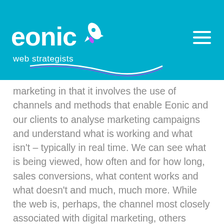[Figure (logo): Eonic web strategists logo with rocket icon and swoosh, white text on blue background, with hamburger menu icon top right]
marketing in that it involves the use of channels and methods that enable Eonic and our clients to analyse marketing campaigns and understand what is working and what isn't – typically in real time. We can see what is being viewed, how often and for how long, sales conversions, what content works and what doesn't and much, much more. While the web is, perhaps, the channel most closely associated with digital marketing, others include wireless text messaging, mobile instant messaging, mobile apps, podcasts, electronic billboards, digital television and radio channels. And let's not forget the Internet of Things, or IoT. Information and engagement opportunities are quite literally popping up everywhere. From Amazon's digital purchase buttons to fridges that re-order goods when they're getting low on produce.